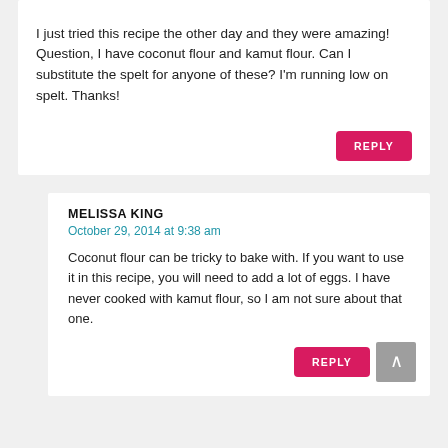I just tried this recipe the other day and they were amazing! Question, I have coconut flour and kamut flour. Can I substitute the spelt for anyone of these? I'm running low on spelt. Thanks!
MELISSA KING
October 29, 2014 at 9:38 am
Coconut flour can be tricky to bake with. If you want to use it in this recipe, you will need to add a lot of eggs. I have never cooked with kamut flour, so I am not sure about that one.